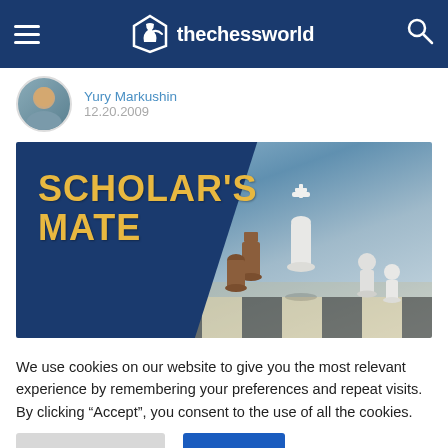thechessworld
Yury Markushin
12.20.2009
[Figure (illustration): Banner image for Scholar's Mate article: dark navy blue background on the left with gold text reading SCHOLAR'S MATE, and a photo of chess pieces (white king and brown pieces on a chessboard) on the right.]
We use cookies on our website to give you the most relevant experience by remembering your preferences and repeat visits. By clicking “Accept”, you consent to the use of all the cookies.
Cookie Settings   Accept